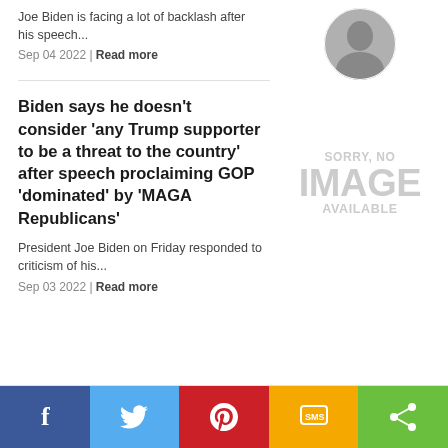Joe Biden is facing a lot of backlash after his speech...
Sep 04 2022 | Read more
[Figure (photo): Circular profile photo of a person]
Biden says he doesn't consider 'any Trump supporter to be a threat to the country' after speech proclaiming GOP 'dominated' by 'MAGA Republicans'
[Figure (other): SORRY, NO IMAGE AVAILABLE placeholder box]
President Joe Biden on Friday responded to criticism of his...
Sep 03 2022 | Read more
Facebook | Twitter | Pinterest | SMS | Share